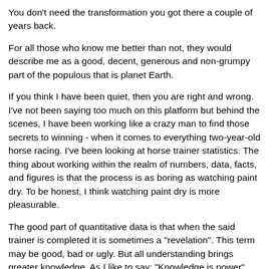You don't need the transformation you got there a couple of years back.
For all those who know me better than not, they would describe me as a good, decent, generous and non-grumpy part of the populous that is planet Earth.
If you think I have been quiet, then you are right and wrong. I've not been saying too much on this platform but behind the scenes, I have been working like a crazy man to find those secrets to winning - when it comes to everything two-year-old horse racing. I've been looking at horse trainer statistics. The thing about working within the realm of numbers, data, facts, and figures is that the process is as boring as watching paint dry. To be honest, I think watching paint dry is more pleasurable.
The good part of quantitative data is that when the said trainer is completed it is sometimes a "revelation". This term may be good, bad or ugly. But all understanding brings greater knowledge. As I like to say: "Knowledge is power".